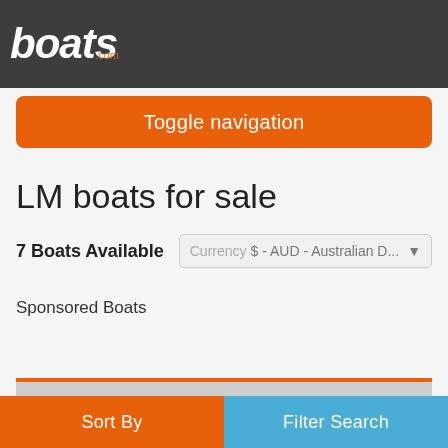boats.com
[Figure (screenshot): Toggle navigation button - orange rounded rectangle button with white text]
LM boats for sale
7 Boats Available
Currency  $ - AUD - Australian D...
Sponsored Boats
[Figure (photo): Boat listing card with grey placeholder image showing camera icon and photo count 30]
Sort By
Filter Search